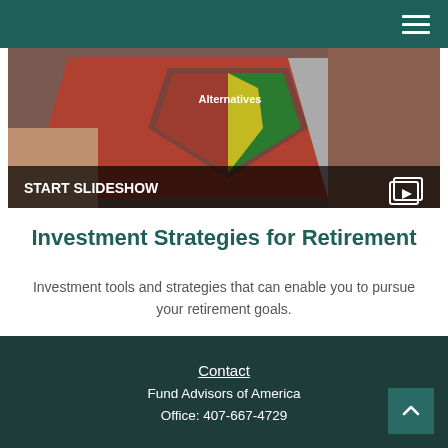[Figure (photo): Hands holding a tablet showing an investment alternatives wheel/shield graphic with red, green, and yellow sections. Text on image: 'Alternatives'. Overlay at bottom shows 'START SLIDESHOW' with a slideshow/play icon.]
Investment Strategies for Retirement
Investment tools and strategies that can enable you to pursue your retirement goals.
Contact
Fund Advisors of America
Office: 407-667-4729